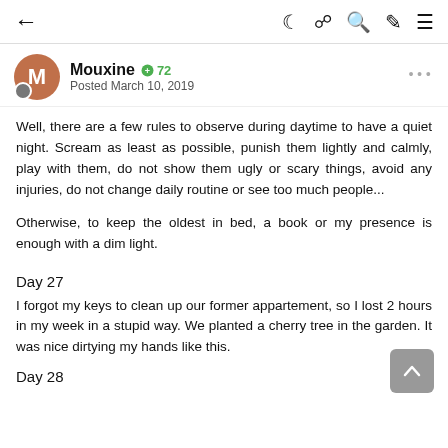← (back) | (dark mode) (reader) (search) (edit) (menu)
Mouxine ⊕ 72
Posted March 10, 2019
Well, there are a few rules to observe during daytime to have a quiet night. Scream as least as possible, punish them lightly and calmly, play with them, do not show them ugly or scary things, avoid any injuries, do not change daily routine or see too much people...
Otherwise, to keep the oldest in bed, a book or my presence is enough with a dim light.
Day 27
I forgot my keys to clean up our former appartement, so I lost 2 hours in my week in a stupid way. We planted a cherry tree in the garden. It was nice dirtying my hands like this.
Day 28